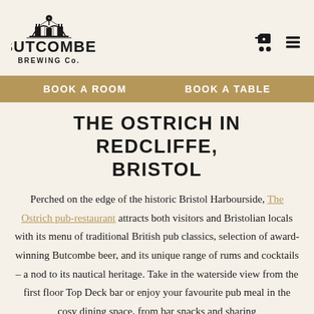[Figure (logo): Butcombe Brewing Co. logo with bridge/building illustration above text]
BOOK A ROOM   BOOK A TABLE
THE OSTRICH IN REDCLIFFE, BRISTOL
Perched on the edge of the historic Bristol Harbourside, The Ostrich pub-restaurant attracts both visitors and Bristolian locals with its menu of traditional British pub classics, selection of award-winning Butcombe beer, and its unique range of rums and cocktails – a nod to its nautical heritage. Take in the waterside view from the first floor Top Deck bar or enjoy your favourite pub meal in the cosy dining space, from bar snacks and sharing